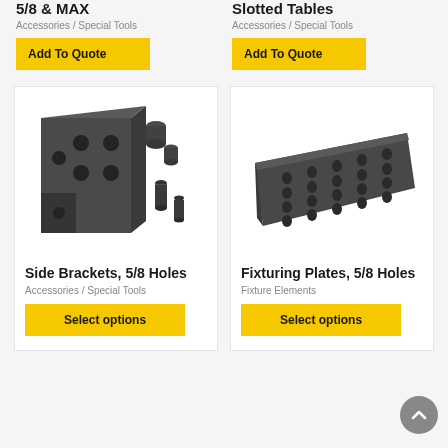5/8 & MAX
Accessories / Special Tools
Add To Quote
Slotted Tables
Accessories / Special Tools
Add To Quote
[Figure (photo): Side bracket with multiple holes and mounting screws/spacers on white background]
Side Brackets, 5/8 Holes
Accessories / Special Tools
Select options
[Figure (photo): Fixturing plate with 5/8 holes in a grid pattern on white background]
Fixturing Plates, 5/8 Holes
Fixture Elements
Select options